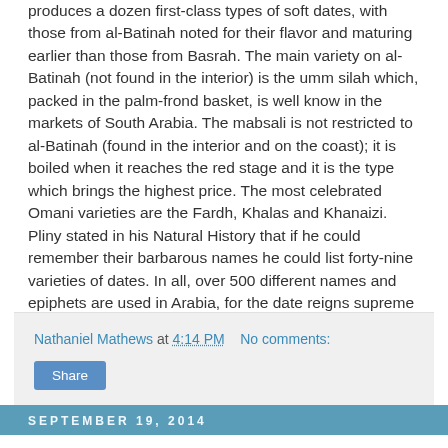produces a dozen first-class types of soft dates, with those from al-Batinah noted for their flavor and maturing earlier than those from Basrah. The main variety on al-Batinah (not found in the interior) is the umm silah which, packed in the palm-frond basket, is well know in the markets of South Arabia. The mabsali is not restricted to al-Batinah (found in the interior and on the coast); it is boiled when it reaches the red stage and it is the type which brings the highest price. The most celebrated Omani varieties are the Fardh, Khalas and Khanaizi. Pliny stated in his Natural History that if he could remember their barbarous names he could list forty-nine varieties of dates. In all, over 500 different names and epiphets are used in Arabia, for the date reigns supreme as the queen of trees. Truly the one-humped camel and the date palm are the symbol of Arabia.
Nathaniel Mathews at 4:14 PM   No comments:
Share
September 19, 2014